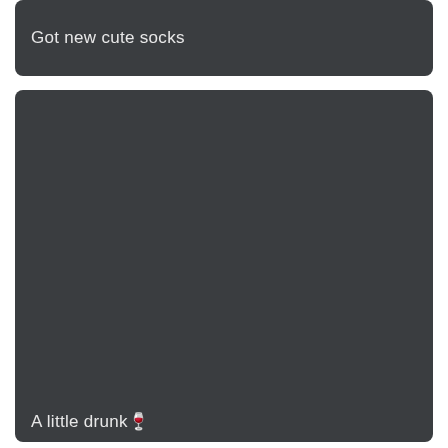Got new cute socks
[Figure (photo): Dark gray/charcoal image placeholder area, appearing to show a photo with no visible content — dark uniform background]
A little drunk🍷